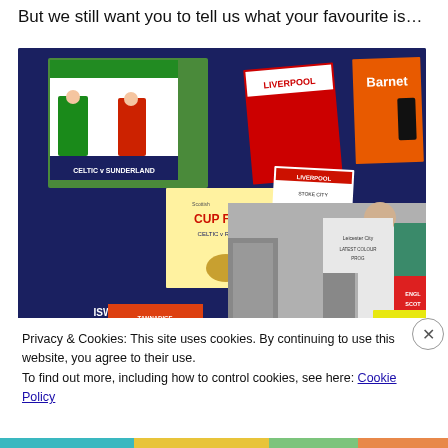But we still want you to tell us what your favourite is…
[Figure (photo): Collage of vintage football programmes including Celtic v Sunderland, Scottish Cup Final Celtic v Rangers, Liverpool v Stoke City, Barnet, Stoke City FC, and others. A black-and-white photograph in the centre shows a man in a white jacket selling or reading a programme to a child on a street.]
Privacy & Cookies: This site uses cookies. By continuing to use this website, you agree to their use.
To find out more, including how to control cookies, see here: Cookie Policy
Close and accept